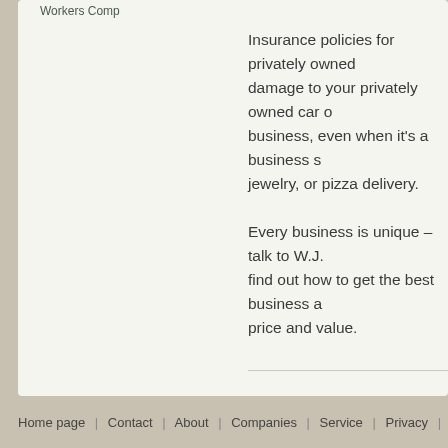Workers Comp
Insurance policies for privately owned damage to your privately owned car or business, even when it's a business s jewelry, or pizza delivery.
Every business is unique – talk to W.J. find out how to get the best business a price and value.
Want to find out more about your options?
Request a Quote »
Home page | Contact | About | Companies | Service | Privacy | Disclaimer